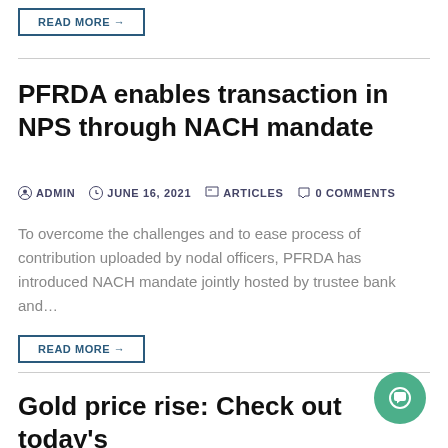READ MORE →
PFRDA enables transaction in NPS through NACH mandate
ADMIN  JUNE 16, 2021  ARTICLES  0 COMMENTS
To overcome the challenges and to ease process of contribution uploaded by nodal officers, PFRDA has introduced NACH mandate jointly hosted by trustee bank and…
READ MORE →
Gold price rise: Check out today's